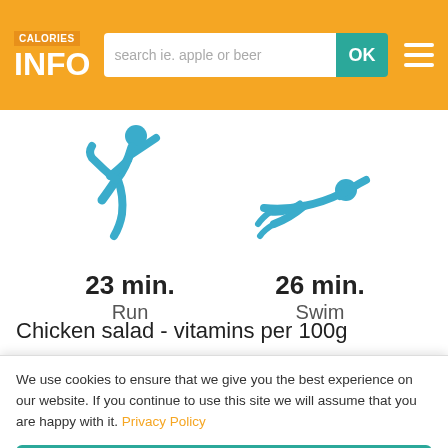CALORIES INFO - search ie. apple or beer - OK
[Figure (illustration): Runner icon (teal/blue figure in running pose) and swimmer icon (teal/blue figure swimming), representing exercise activities]
23 min. Run
26 min. Swim
Chicken salad - vitamins per 100g
Vitaminium B1 (Thiamine)    0.024 mg
Vitaminium B2 (riboflavin)    0.071 mg
We use cookies to ensure that we give you the best experience on our website. If you continue to use this site we will assume that you are happy with it. Privacy Policy
Close